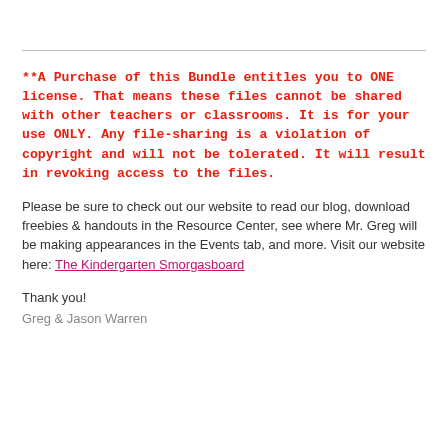**A Purchase of this Bundle entitles you to ONE license. That means these files cannot be shared with other teachers or classrooms. It is for your use ONLY. Any file-sharing is a violation of copyright and will not be tolerated. It will result in revoking access to the files.
Please be sure to check out our website to read our blog, download freebies & handouts in the Resource Center, see where Mr. Greg will be making appearances in the Events tab, and more. Visit our website here: The Kindergarten Smorgasboard
Thank you!
Greg & Jason Warren